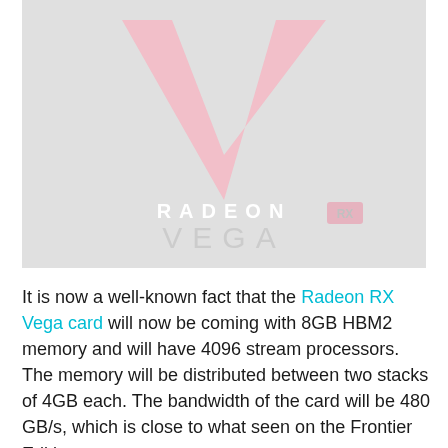[Figure (logo): AMD Radeon RX Vega logo on a light gray background. Features the Radeon RX Vega V-shaped logo in pink/light red tones at the top, with 'RADEON RX' text in white and 'VEGA' in large light gray letters below.]
It is now a well-known fact that the Radeon RX Vega card will now be coming with 8GB HBM2 memory and will have 4096 stream processors. The memory will be distributed between two stacks of 4GB each. The bandwidth of the card will be 480 GB/s, which is close to what seen on the Frontier Edition.